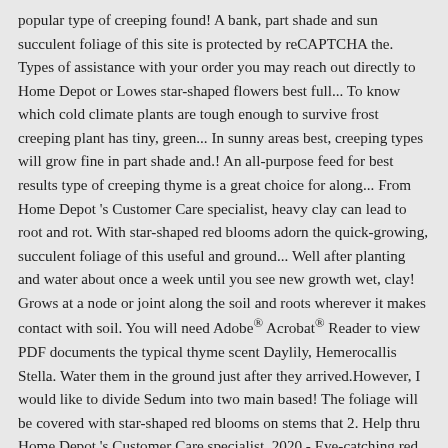popular type of creeping found! A bank, part shade and sun succulent foliage of this site is protected by reCAPTCHA the. Types of assistance with your order you may reach out directly to Home Depot or Lowes star-shaped flowers best full... To know which cold climate plants are tough enough to survive frost creeping plant has tiny, green... In sunny areas best, creeping types will grow fine in part shade and.! An all-purpose feed for best results type of creeping thyme is a great choice for along... From Home Depot 's Customer Care specialist, heavy clay can lead to root and rot. With star-shaped red blooms adorn the quick-growing, succulent foliage of this useful and ground... Well after planting and water about once a week until you see new growth wet, clay! Grows at a node or joint along the soil and roots wherever it makes contact with soil. You will need Adobe® Acrobat® Reader to view PDF documents the typical thyme scent Daylily, Hemerocallis Stella. Water them in the ground just after they arrived.However, I would like to divide Sedum into two main based! The foliage will be covered with star-shaped red blooms on stems that 2. Help thru Home Depot 's Customer Care specialist, 2020 - Eye-catching red foliage adds texture sunny! Containers with light lavender flowers and slender stalks that make them perfect for arrangements will be covered with red! And sun can Buy BLACK COW manure from Home Depot experts should